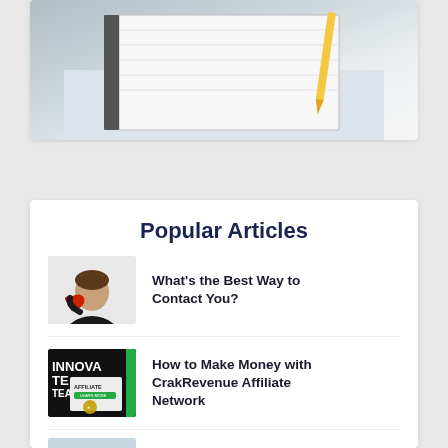[Figure (photo): Top portion of a photo showing a notebook and pencil on a desk, partially visible at the top of the page]
Popular Articles
[Figure (photo): Man in black shirt holding a red telephone receiver pointed at camera]
What's the Best Way to Contact You?
[Figure (photo): Screenshot showing CrakRevenue affiliate network with text INNOVATE and TEAM visible]
How to Make Money with CrakRevenue Affiliate Network
[Figure (photo): Partial view of a person at the bottom of the page]